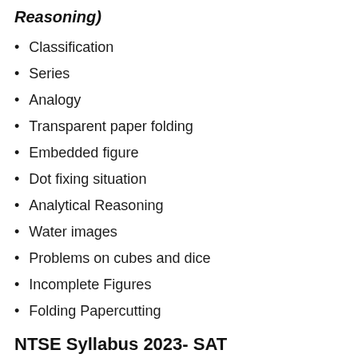Reasoning)
Classification
Series
Analogy
Transparent paper folding
Embedded figure
Dot fixing situation
Analytical Reasoning
Water images
Problems on cubes and dice
Incomplete Figures
Folding Papercutting
NTSE Syllabus 2023- SAT
NCERT has not specified any syllabus for NTSE SAT. However, it majorly depends on the syllabus of classes 9